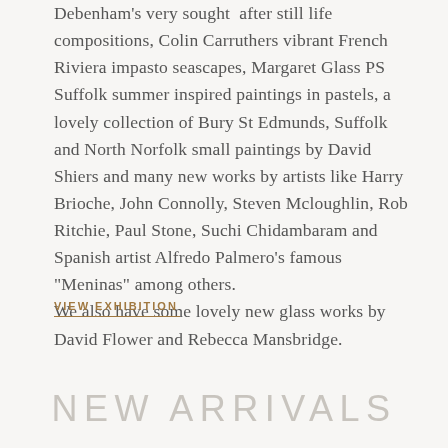Debenham's very sought after still life compositions, Colin Carruthers vibrant French Riviera impasto seascapes, Margaret Glass PS Suffolk summer inspired paintings in pastels, a lovely collection of Bury St Edmunds, Suffolk and North Norfolk small paintings by David Shiers and many new works by artists like Harry Brioche, John Connolly, Steven Mcloughlin, Rob Ritchie, Paul Stone, Suchi Chidambaram and Spanish artist Alfredo Palmero's famous "Meninas" among others.
We also have some lovely new glass works by David Flower and Rebecca Mansbridge.
VIEW EXHIBITION
NEW ARRIVALS